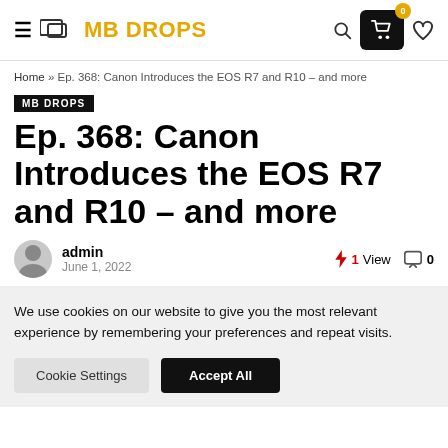MB DROPS — navigation header with hamburger, logo, search, cart (0), heart icons
Home » Ep. 368: Canon Introduces the EOS R7 and R10 – and more
MB DROPS
Ep. 368: Canon Introduces the EOS R7 and R10 – and more
admin
June 1, 2022
1 View   0
We use cookies on our website to give you the most relevant experience by remembering your preferences and repeat visits.
Cookie Settings   Accept All